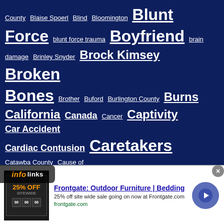[Figure (other): Tag cloud on dark navy background with various terms at different font sizes including: County, Blaise Spoerl, Blind, Bloomington, Blunt, Force, blunt force trauma, Boyfriend, brain damage, Brinley Snyder, Brock Kimsey, Broken Bones, Brother, Buford, Burlington County, Burns, California, Canada, Cancer, Captivity, Car Accident, Cardiac Contusion, Caretakers, Catawba County, Cause of Death, Center Moriches, Chance Peterkin, Charged, Charges Dropped, Charlette Dawkins, Chester County, Chest, Child, Child Abuse]
[Figure (infographic): Infolinks advertisement banner: Frontgate Outdoor Furniture Bedding - 25% off site wide sale going on now at Frontgate.com. frontgate.com]